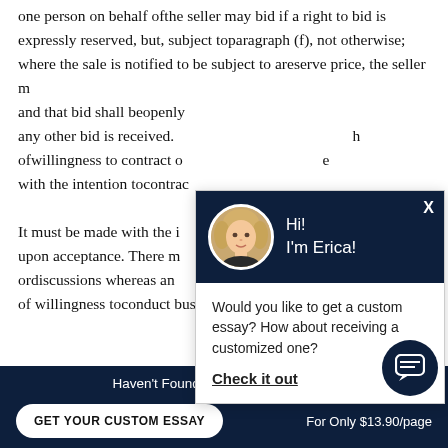one person on behalf of the seller may bid if a right to bid is expressly reserved, but, subject to paragraph (f), not otherwise; where the sale is notified to be subject to a reserve price, the seller m... and that bid shall be openly... any other bid is received. ...of willingness to contract o... e with the intention tocontrac... It must be made with the in... ng upon acceptance. There m... or discussions whereas an... of willingness to conduct business. It is simply an in... to
[Figure (screenshot): Chat popup with avatar of a blonde woman named Erica on dark navy header, body text asking if user wants a custom essay with a 'Check it out' link.]
Haven't Found The Essay You Want?
GET YOUR CUSTOM ESSAY   For Only $13.90/page